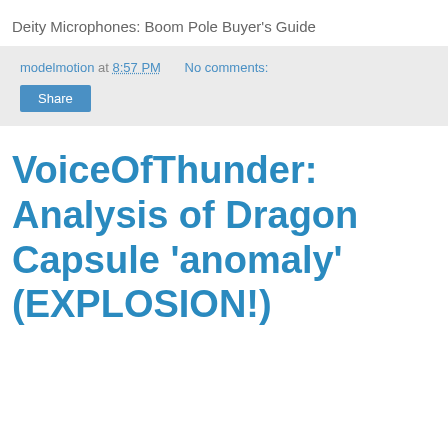Deity Microphones: Boom Pole Buyer's Guide
modelmotion at 8:57 PM   No comments:
Share
VoiceOfThunder: Analysis of Dragon Capsule 'anomaly' (EXPLOSION!)